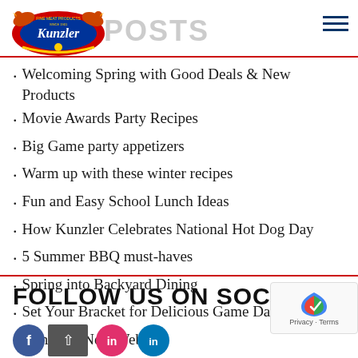POSTS
Welcoming Spring with Good Deals & New Products
Movie Awards Party Recipes
Big Game party appetizers
Warm up with these winter recipes
Fun and Easy School Lunch Ideas
How Kunzler Celebrates National Hot Dog Day
5 Summer BBQ must-haves
Spring into Backyard Dining
Set Your Bracket for Delicious Game Day Snacks
Kunzler's New Website!
FOLLOW US ON SOCIAL
[Figure (logo): Kunzler Fine Meat Products logo with two birds and blue oval]